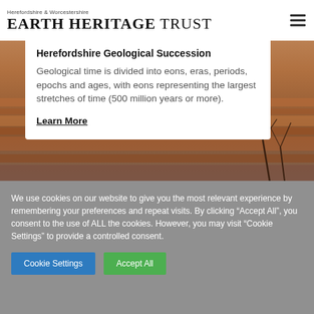Herefordshire & Worcestershire Earth Heritage Trust
[Figure (photo): Background photo of reddish-brown rocky cliff face with bare tree branches visible on the right side]
Herefordshire Geological Succession
Geological time is divided into eons, eras, periods, epochs and ages, with eons representing the largest stretches of time (500 million years or more).
Learn More
We use cookies on our website to give you the most relevant experience by remembering your preferences and repeat visits. By clicking “Accept All”, you consent to the use of ALL the cookies. However, you may visit “Cookie Settings” to provide a controlled consent.
Cookie Settings
Accept All